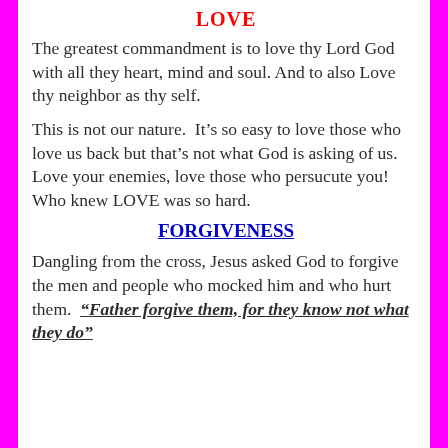LOVE
The greatest commandment is to love thy Lord God with all they heart, mind and soul. And to also Love thy neighbor as thy self.
This is not our nature.  It’s so easy to love those who love us back but that’s not what God is asking of us.  Love your enemies, love those who persucute you!  Who knew LOVE was so hard.
FORGIVENESS
Dangling from the cross, Jesus asked God to forgive the men and people who mocked him and who hurt them.  “Father forgive them, for they know not what they do”